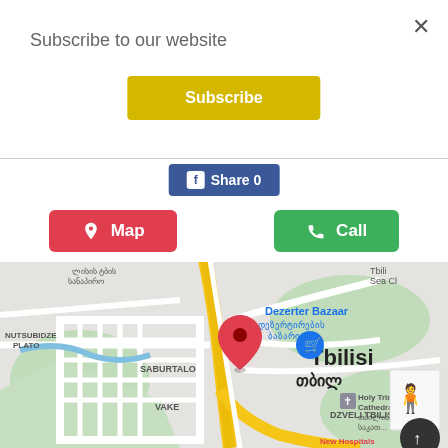×
Subscribe to our website
Subscribe
Share 0
Map
Call
[Figure (map): Google Maps screenshot showing Tbilisi, Georgia. Visible landmarks: Dezerter Bazaar, NUTSUBIDZE PLATO, SABURTALO, VAKE, DZVELI TBILISI, Tbilisi Sea Club, Holy Trinity Cathedral. A red map pin is placed near Dezerter Bazaar. A shopping cart icon and a person/pegman icon are visible. Yellow roads run through the city.]